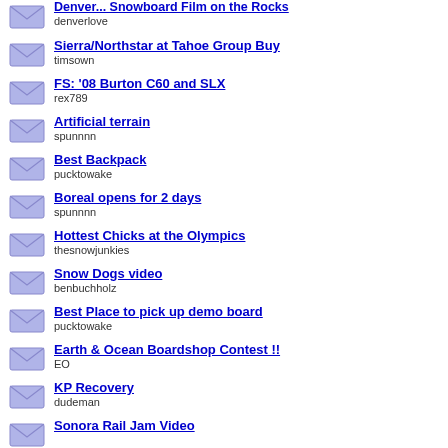Denver... Snowboard Film on the Rocks
denverlove
Sierra/Northstar at Tahoe Group Buy
timsown
FS: '08 Burton C60 and SLX
rex789
Artificial terrain
spunnnn
Best Backpack
pucktowake
Boreal opens for 2 days
spunnnn
Hottest Chicks at the Olympics
thesnowjunkies
Snow Dogs video
benbuchholz
Best Place to pick up demo board
pucktowake
Earth & Ocean Boardshop Contest !!
EO
KP Recovery
dudeman
Sonora Rail Jam Video